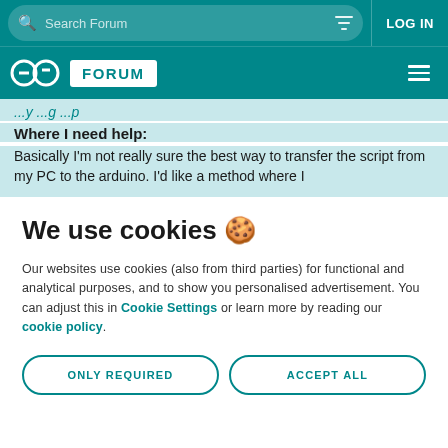Search Forum | LOG IN
Arduino FORUM
...y ...g ...p
Where I need help:
Basically I'm not really sure the best way to transfer the script from my PC to the arduino. I'd like a method where I
We use cookies 🍪
Our websites use cookies (also from third parties) for functional and analytical purposes, and to show you personalised advertisement. You can adjust this in Cookie Settings or learn more by reading our cookie policy.
ONLY REQUIRED | ACCEPT ALL